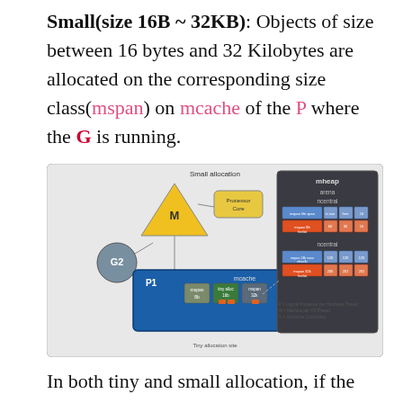Small(size 16B ~ 32KB): Objects of size between 16 bytes and 32 Kilobytes are allocated on the corresponding size class(mspan) on mcache of the P where the G is running.
[Figure (schematic): Small allocation diagram showing M (machine/OS thread triangle), G2 (goroutine circle), P1 (processor rectangle with mcache containing mspan slots), Processor Core box connected to M, and mheap panel on the right with arena, ncentral and ncentral sections showing mspan rows. Legend: P = Logical Processor per Hardware Thread, M = Machine per OS Thread, G = Goroutine (Coroutine). Tiny allocation site label at bottom.]
In both tiny and small allocation, if the